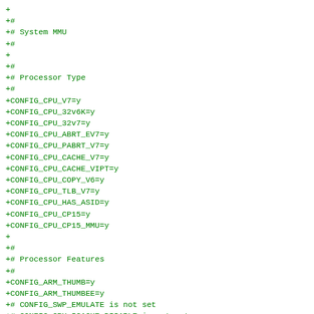+
+#
+# System MMU
+#
+
+#
+# Processor Type
+#
+CONFIG_CPU_V7=y
+CONFIG_CPU_32v6K=y
+CONFIG_CPU_32v7=y
+CONFIG_CPU_ABRT_EV7=y
+CONFIG_CPU_PABRT_V7=y
+CONFIG_CPU_CACHE_V7=y
+CONFIG_CPU_CACHE_VIPT=y
+CONFIG_CPU_COPY_V6=y
+CONFIG_CPU_TLB_V7=y
+CONFIG_CPU_HAS_ASID=y
+CONFIG_CPU_CP15=y
+CONFIG_CPU_CP15_MMU=y
+
+#
+# Processor Features
+#
+CONFIG_ARM_THUMB=y
+CONFIG_ARM_THUMBEE=y
+# CONFIG_SWP_EMULATE is not set
+# CONFIG_CPU_ICACHE_DISABLE is not set
+# CONFIG_CPU_DCACHE_DISABLE is not set
+# CONFIG_CPU_BPREDICT_DISABLE is not set
+CONFIG_ARM_L1_CACHE_SHIFT_6=y
+CONFIG_ARM_L1_CACHE_SHIFT=6
+CONFIG_ARM_DMA_MEM_BUFFERABLE